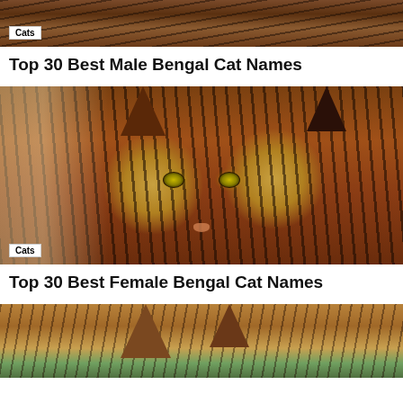[Figure (photo): Close-up photo of a Bengal cat with dark striped fur, cropped at the top of the page]
Cats
Top 30 Best Male Bengal Cat Names
[Figure (photo): Close-up portrait of a Bengal cat face with yellow-green eyes, dark stripes, and a pink nose, with blurred background]
Cats
Top 30 Best Female Bengal Cat Names
[Figure (photo): Partial photo of a Bengal cat from below, showing ears and face against a green outdoor background]